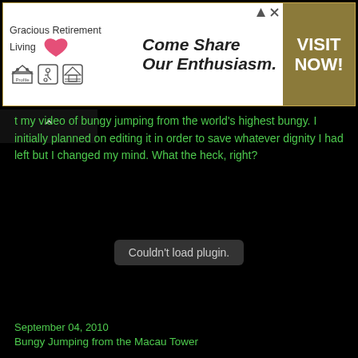[Figure (other): Advertisement banner for Gracious Retirement Living with tagline 'Come Share Our Enthusiasm.' and a gold 'VISIT NOW!' call-to-action button on the right side.]
t my video of bungy jumping from the world's highest bungy. I initially planned on editing it in order to save whatever dignity I had left but I changed my mind. What the heck, right?
[Figure (other): Embedded video player area showing 'Couldn't load plugin.' message on a black background.]
September 04, 2010
Bungy Jumping from the Macau Tower
We booked flights from Cebu to Hongkong using Cebu Pacific's piso fare some time in November last year. Part of our itinerary was to check out Macau and its tourist places.